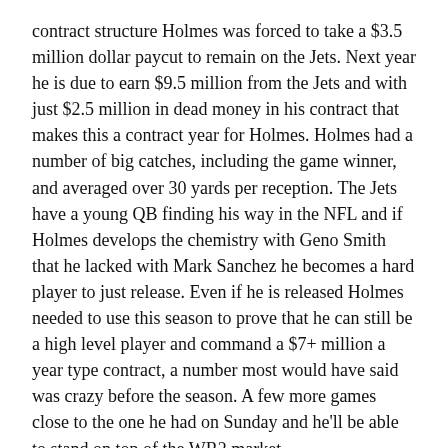contract structure Holmes was forced to take a $3.5 million dollar paycut to remain on the Jets. Next year he is due to earn $9.5 million from the Jets and with just $2.5 million in dead money in his contract that makes this a contract year for Holmes. Holmes had a number of big catches, including the game winner, and averaged over 30 yards per reception. The Jets have a young QB finding his way in the NFL and if Holmes develops the chemistry with Geno Smith that he lacked with Mark Sanchez he becomes a hard player to just release. Even if he is released Holmes needed to use this season to prove that he can still be a high level player and command a $7+ million a year type contract, a number most would have said was crazy before the season. A few more games close to the one he had on Sunday and he'll be able to stand on top of the WR2 market.
Doug Free– It is not often that we give credit to the guys on the line, especially ones like Free, who has had a rough time of it in Dallas, but Free yesterday really played a terrific game in Dallas. The Rams are a decent team with a number